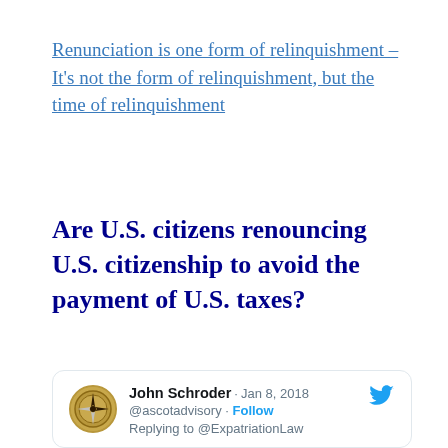Renunciation is one form of relinquishment – It's not the form of relinquishment, but the time of relinquishment
Are U.S. citizens renouncing U.S. citizenship to avoid the payment of U.S. taxes?
[Figure (screenshot): Tweet by John Schroder (@ascotadvisory) dated Jan 8, 2018, replying to @ExpatriationLaw. Text: 'Most people think anyone who renounces US Citizenship is A. Super Wealthy & B. Are doing so for taxes. I can say from my own experience with clients, the "reason" list is long & varied']